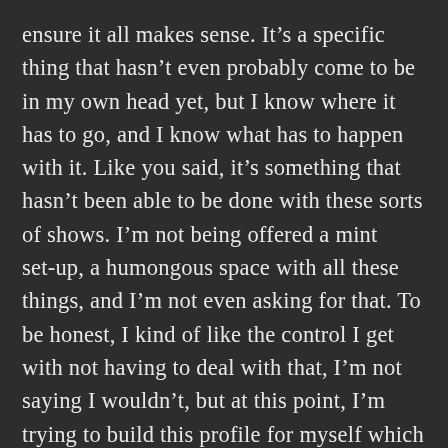ensure it all makes sense. It's a specific thing that hasn't even probably come to be in my own head yet, but I know where it has to go, and I know what has to happen with it. Like you said, it's something that hasn't been able to be done with these sorts of shows. I'm not being offered a mint set-up, a humongous space with all these things, and I'm not even asking for that. To be honest, I kind of like the control I get with not having to deal with that, I'm not saying I wouldn't, but at this point, I'm trying to build this profile for myself which isn't just about what I've done, but it needs to be different. So, for me to do that, I just have to literally make these ideas that have been pushing at me, come to be, and I think that the